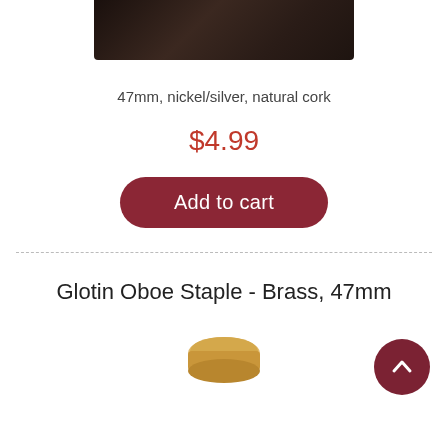[Figure (photo): Top portion of a dark brown/black oboe staple product photo, cropped at the top of the page]
47mm, nickel/silver, natural cork
$4.99
Add to cart
Glotin Oboe Staple - Brass, 47mm
[Figure (photo): Bottom portion of a gold/brass oboe staple product photo, partially visible at the bottom of the page]
[Figure (other): Scroll-to-top button with chevron/up-arrow icon, dark red circular button in the bottom right corner]